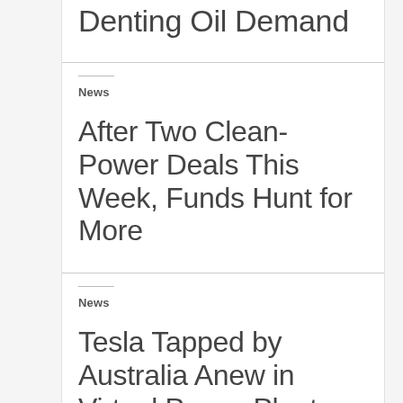Denting Oil Demand
News
After Two Clean-Power Deals This Week, Funds Hunt for More
News
Tesla Tapped by Australia Anew in Virtual Power Plant Plan